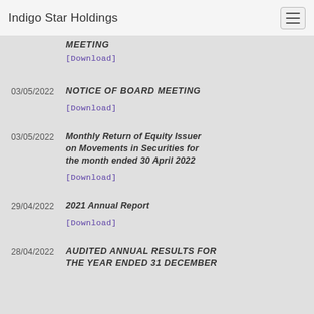Indigo Star Holdings
MEETING
[Download]
03/05/2022 NOTICE OF BOARD MEETING [Download]
03/05/2022 Monthly Return of Equity Issuer on Movements in Securities for the month ended 30 April 2022 [Download]
29/04/2022 2021 Annual Report [Download]
28/04/2022 AUDITED ANNUAL RESULTS FOR THE YEAR ENDED 31 DECEMBER